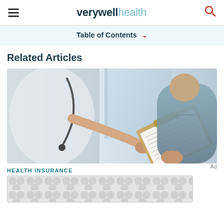verywell health
Table of Contents
Related Articles
[Figure (photo): A doctor handing a clipboard with medical forms to a patient wearing a blue hospital gown]
HEALTH INSURANCE
[Figure (other): Ad placeholder with grey dot/circle pattern background]